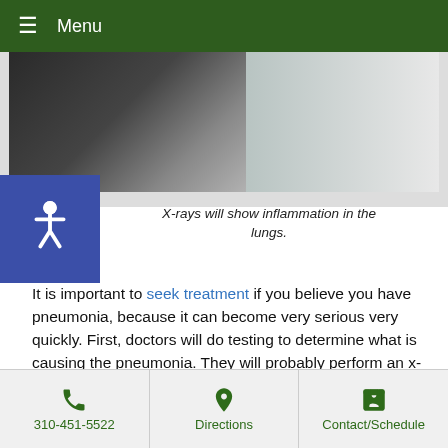Menu
[Figure (photo): X-ray or medical imaging photo showing a dark background with medical equipment and a bright area suggesting lung imaging.]
X-rays will show inflammation in the lungs.
It is important to seek treatment if you believe you have pneumonia, because it can become very serious very quickly. First, doctors will do testing to determine what is causing the pneumonia. They will probably perform an x-ray to see where the lungs are inflamed.
Bacterial forms of pneumonia are typically treated with antibiotics, usually some form of amoxicillin. Pneumonia antibiotics cannot help if you have viral pneumonia, although some doctors may recommend medicines like Tamiflu, to help with symptoms.
310-451-5522 | Directions | Contact/Schedule